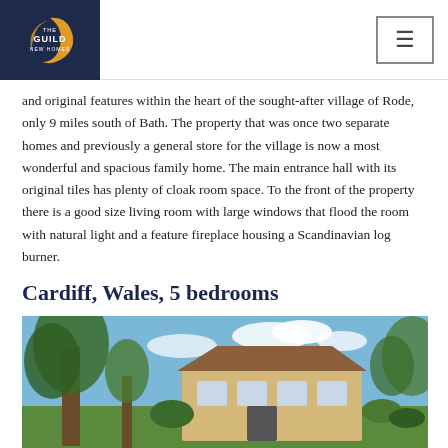[Figure (logo): The Guild New Homes logo on dark navy background]
and original features within the heart of the sought-after village of Rode, only 9 miles south of Bath. The property that was once two separate homes and previously a general store for the village is now a most wonderful and spacious family home. The main entrance hall with its original tiles has plenty of cloak room space. To the front of the property there is a good size living room with large windows that flood the room with natural light and a feature fireplace housing a Scandinavian log burner.
Cardiff, Wales, 5 bedrooms
[Figure (photo): Exterior photo of a yellow/cream house with large trees and garden in Cardiff, Wales]